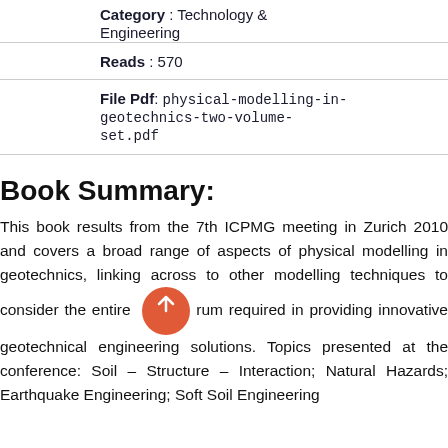Category : Technology & Engineering
Reads : 570
File Pdf: physical-modelling-in-geotechnics-two-volume-set.pdf
Book Summary:
This book results from the 7th ICPMG meeting in Zurich 2010 and covers a broad range of aspects of physical modelling in geotechnics, linking across to other modelling techniques to consider the entire [spectrum] required in providing innovative geotechnical engineering solutions. Topics presented at the conference: Soil – Structure – Interaction; Natural Hazards; Earthquake Engineering; Soft Soil Engineering